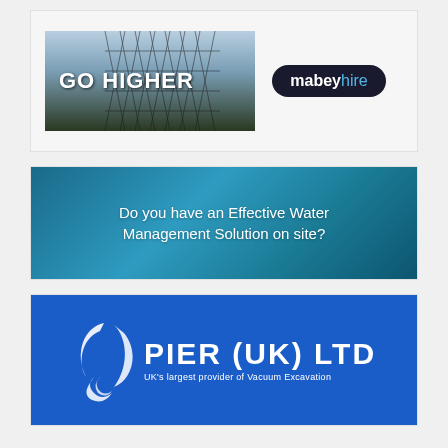[Figure (logo): Mabey Hire advertisement banner: left side shows a photo of a steel lattice tower with text 'GO HIGHER' overlaid in white; right side shows 'mabeyhire' logo in a dark rounded badge with white bold 'mabey' and light blue 'hire' text.]
[Figure (illustration): Blue gradient banner advertisement reading 'Do you have an Effective Water Management Solution on site?' in white text on a teal/blue background.]
[Figure (logo): Pier (UK) Ltd advertisement on blue background. White crescent/swirl logo icon on left, followed by bold white text 'PIER (UK) LTD' and subtitle 'UK's largest provider of Vacuum Excavation'.]